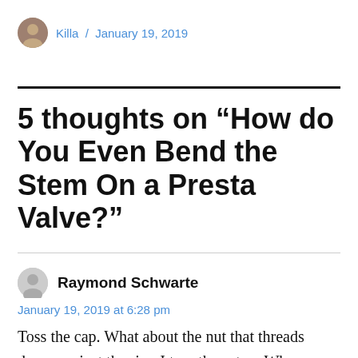Killa / January 19, 2019
5 thoughts on “How do You Even Bend the Stem On a Presta Valve?”
Raymond Schwarte
January 19, 2019 at 6:28 pm
Toss the cap. What about the nut that threads down against the rim. I toss those too. When that’s screwed down and the tube flats the stem tends to pull into the tire and make the